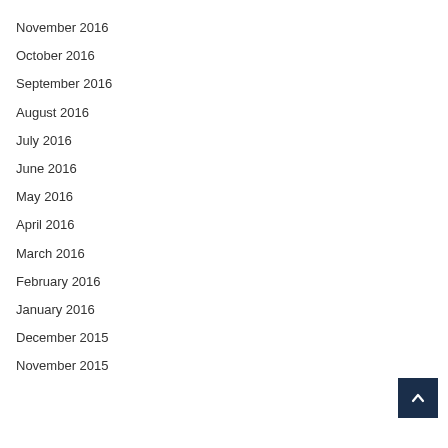November 2016
October 2016
September 2016
August 2016
July 2016
June 2016
May 2016
April 2016
March 2016
February 2016
January 2016
December 2015
November 2015